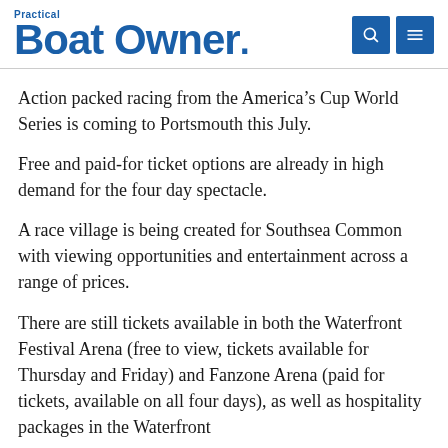Practical Boat Owner
Action packed racing from the America’s Cup World Series is coming to Portsmouth this July.
Free and paid-for ticket options are already in high demand for the four day spectacle.
A race village is being created for Southsea Common with viewing opportunities and entertainment across a range of prices.
There are still tickets available in both the Waterfront Festival Arena (free to view, tickets available for Thursday and Friday) and Fanzone Arena (paid for tickets, available on all four days), as well as hospitality packages in the Waterfront